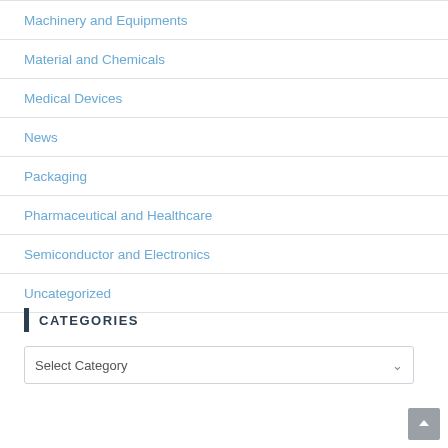Machinery and Equipments
Material and Chemicals
Medical Devices
News
Packaging
Pharmaceutical and Healthcare
Semiconductor and Electronics
Uncategorized
CATEGORIES
Select Category